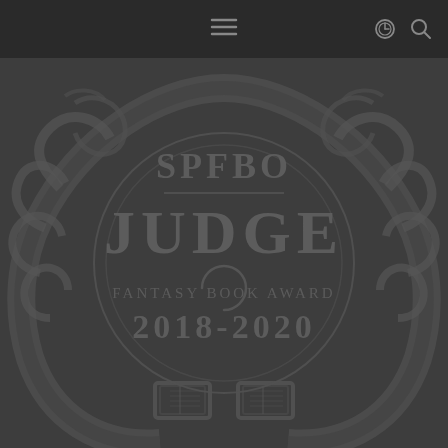Navigation header with hamburger menu and icons
[Figure (illustration): SPFBO Judge Fantasy Book Award 2018-2020 badge/seal with decorative wreath and dragon imagery on dark gray background. Text reads: SPFBO, JUDGE, FANTASY BOOK AWARD, 2018-2020]